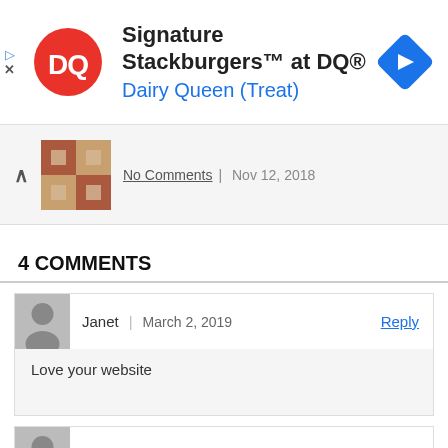[Figure (screenshot): Dairy Queen advertisement banner with DQ logo, text 'Signature Stackburgers™ at DQ®' and 'Dairy Queen (Treat)', and a blue navigation arrow icon on the right]
No Comments | Nov 12, 2018
4 COMMENTS
Janet | March 2, 2019  Reply
Love your website
Rosie | December 2, 2019  Reply
Love this. Thank you!